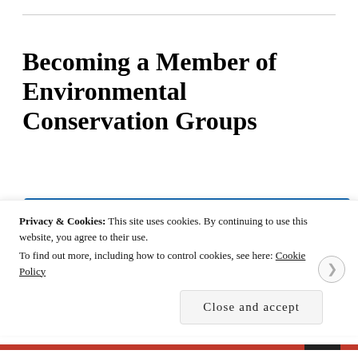Becoming a Member of Environmental Conservation Groups
[Figure (photo): Panoramic photograph of snow-capped mountain peaks under a clear blue sky, with rocky slopes and green trees in the foreground.]
Privacy & Cookies: This site uses cookies. By continuing to use this website, you agree to their use.
To find out more, including how to control cookies, see here: Cookie Policy